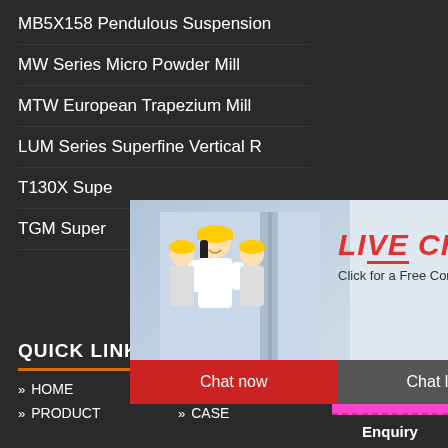MB5X158 Pendulous Suspension
MW Series Micro Powder Mill
MTW European Trapezium Mill
LUM Series Superfine Vertical R
T130X Supe
TGM Super
[Figure (screenshot): Live Chat popup with workers in hard hats, LIVE CHAT header in red italic, Click for a Free Consultation text, Chat now (red) and Chat later (dark) buttons]
[Figure (infographic): Orange sidebar with industrial machinery images, Enjoy 3% discount yellow bar, Click to Chat pink bar, Enquiry dark bar]
QUICK LINKS
>> HOME
>> ABOUT
>> PRODUCT
>> CASE